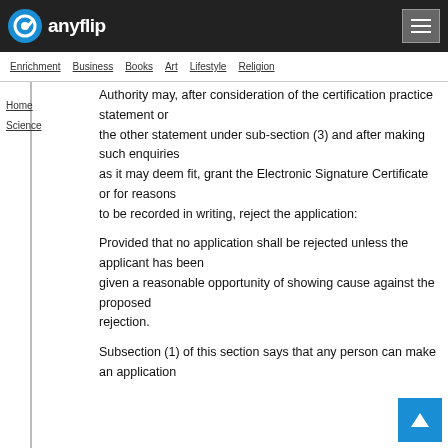anyflip — navigation bar with logo and menu
Enrichment  Business  Books  Art  Lifestyle  Religion
Home  Science
Authority may, after consideration of the certification practice statement or the other statement under sub-section (3) and after making such enquiries as it may deem fit, grant the Electronic Signature Certificate or for reasons to be recorded in writing, reject the application:
Provided that no application shall be rejected unless the applicant has been given a reasonable opportunity of showing cause against the proposed rejection.
Subsection (1) of this section says that any person can make an application